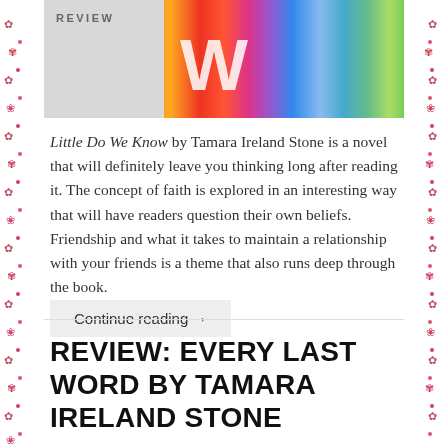[Figure (photo): Top portion of a colorful book cover showing the word 'REVIEW' in the upper left corner and decorative quilled paper art letters in vivid colors including red, orange, purple, blue, and green.]
Little Do We Know by Tamara Ireland Stone is a novel that will definitely leave you thinking long after reading it. The concept of faith is explored in an interesting way that will have readers question their own beliefs. Friendship and what it takes to maintain a relationship with your friends is a theme that also runs deep through the book.
Continue reading →
REVIEW: EVERY LAST WORD BY TAMARA IRELAND STONE